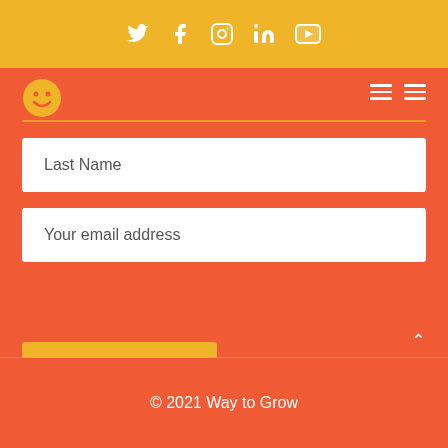Social icons: Twitter, Facebook, Instagram, LinkedIn, YouTube
[Figure (logo): Smiley face logo circle in yellow/orange]
Last Name
Your email address
SUBSCRIBE
© 2021 Way to Grow